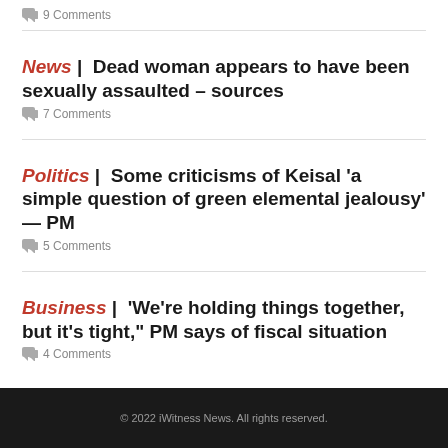9 Comments
News | Dead woman appears to have been sexually assaulted – sources
7 Comments
Politics | Some criticisms of Keisal 'a simple question of green elemental jealousy' — PM
5 Comments
Business | 'We're holding things together, but it's tight," PM says of fiscal situation
4 Comments
© 2022 iWitness News. All rights reserved.